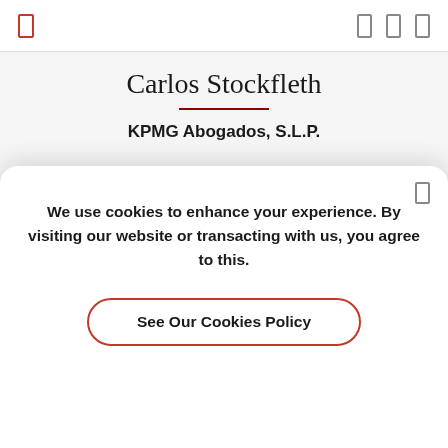Navigation bar with menu icon and share icons
Carlos Stockfleth
KPMG Abogados, S.L.P.
Recognized since 2020
Madrid, Spain
Practice Areas
Tax Law
We use cookies to enhance your experience. By visiting our website or transacting with us, you agree to this.
See Our Cookies Policy